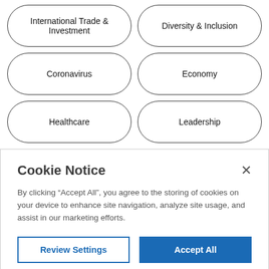[Figure (screenshot): Grid of topic tag pill buttons in two columns: International Trade & Investment, Diversity & Inclusion, Coronavirus, Economy, Healthcare, Leadership, Global Supply Chains, Government Policy, Technology, Cybersecurity]
Cookie Notice
By clicking “Accept All”, you agree to the storing of cookies on your device to enhance site navigation, analyze site usage, and assist in our marketing efforts.
Review Settings
Accept All